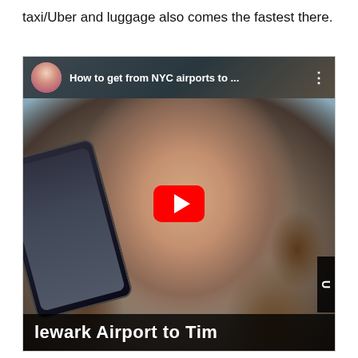taxi/Uber and luggage also comes the fastest there.
[Figure (screenshot): YouTube video thumbnail showing a woman holding a smartphone with the Uber app open, with the video title 'How to get from NYC airports to ...' and a YouTube play button overlay. The bottom shows text 'Newark Airport to Tim']